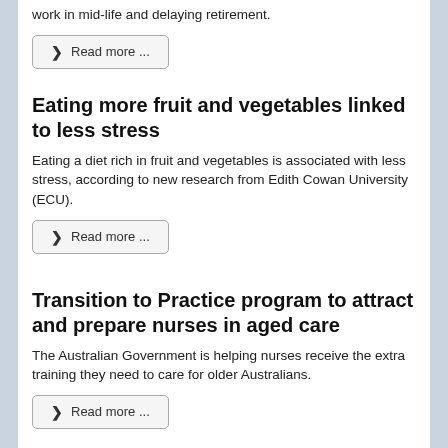work in mid-life and delaying retirement.
Read more ...
Eating more fruit and vegetables linked to less stress
Eating a diet rich in fruit and vegetables is associated with less stress, according to new research from Edith Cowan University (ECU).
Read more ...
Transition to Practice program to attract and prepare nurses in aged care
The Australian Government is helping nurses receive the extra training they need to care for older Australians.
Read more ...
Worrying that heart attack victims don't call 000